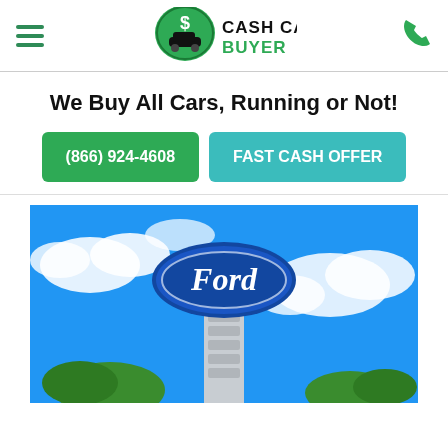Cash Cars Buyer — We Buy All Cars, Running or Not!
We Buy All Cars, Running or Not!
(866) 924-4608
FAST CASH OFFER
[Figure (photo): Ford dealership sign on a tall white pillar against a bright blue sky with white clouds and green trees below. The Ford oval logo is prominently displayed in blue and silver.]